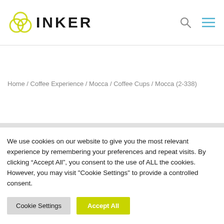INKER
Home / Coffee Experience / Mocca / Coffee Cups / Mocca (2-338)
We use cookies on our website to give you the most relevant experience by remembering your preferences and repeat visits. By clicking “Accept All”, you consent to the use of ALL the cookies. However, you may visit "Cookie Settings" to provide a controlled consent.